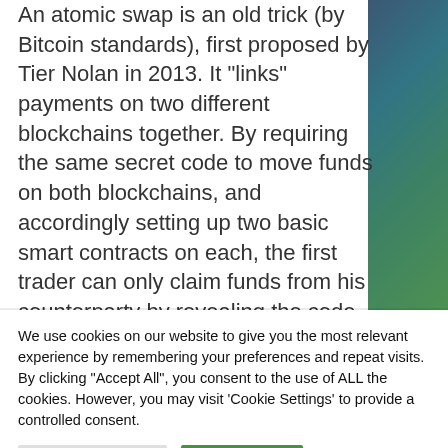An atomic swap is an old trick (by Bitcoin standards), first proposed by Tier Nolan in 2013. It "links" payments on two different blockchains together. By requiring the same secret code to move funds on both blockchains, and accordingly setting up two basic smart contracts on each, the first trader can only claim funds from his counterparty by revealing the code on one blockchain. The counterparty can then use this same code to claim funds from the first blockchain as well.
We use cookies on our website to give you the most relevant experience by remembering your preferences and repeat visits. By clicking "Accept All", you consent to the use of ALL the cookies. However, you may visit 'Cookie Settings' to provide a controlled consent.